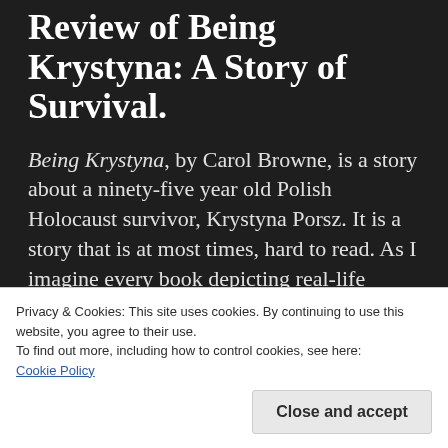Review of Being Krystyna: A Story of Survival.
Being Krystyna, by Carol Browne, is a story about a ninety-five year old Polish Holocaust survivor, Krystyna Porsz. It is a story that is at most times, hard to read. As I imagine every book depicting real-life accounts of the Holocaust are.
Ms. Porsz states that at first she felt her story
Privacy & Cookies: This site uses cookies. By continuing to use this website, you agree to their use.
To find out more, including how to control cookies, see here: Cookie Policy
Close and accept